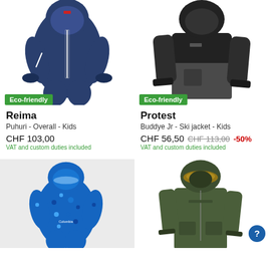[Figure (photo): Blue kids snowsuit/overall with hood (Reima Puhuri) on white background, with green Eco-friendly badge]
Eco-friendly
Reima
Puhuri - Overall - Kids
CHF 103,00
VAT and custom duties included
[Figure (photo): Dark grey/black kids ski jacket with hood (Protest Buddye Jr) on white background, with green Eco-friendly badge]
Eco-friendly
Protest
Buddye Jr - Ski jacket - Kids
CHF 56,50  CHF 113,00  -50%
VAT and custom duties included
[Figure (photo): Blue patterned kids snowsuit with hood (Columbia) on grey background]
[Figure (photo): Olive/dark green kids jacket with fur-trimmed hood on white background]